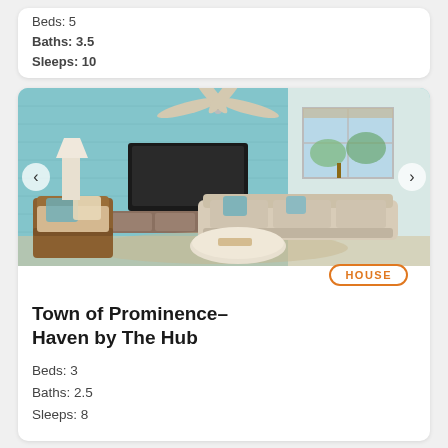Beds: 5
Baths: 3.5
Sleeps: 10
[Figure (photo): Interior living room of a beach house with light blue shiplap accent wall, ceiling fan, wall-mounted TV, neutral sofas, wooden armchair with blue and beige cushions, round white coffee table, and large windows showing outdoor foliage]
HOUSE
Town of Prominence–Haven by The Hub
Beds: 3
Baths: 2.5
Sleeps: 8